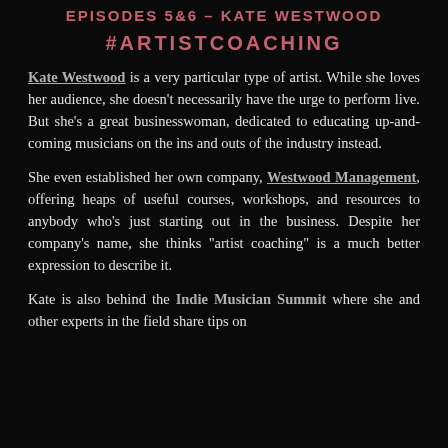EPISODES 5&6 – KATE WESTWOOD
#ARTISTCOACHING
Kate Westwood is a very particular type of artist. While she loves her audience, she doesn't necessarily have the urge to perform live. But she's a great businesswoman, dedicated to educating up-and-coming musicians on the ins and outs of the industry instead.
She even established her own company, Westwood Management, offering heaps of useful courses, workshops, and resources to anybody who's just starting out in the business. Despite her company's name, she thinks "artist coaching" is a much better expression to describe it.
Kate is also behind the Indie Musician Summit where she and other experts in the field share tips on